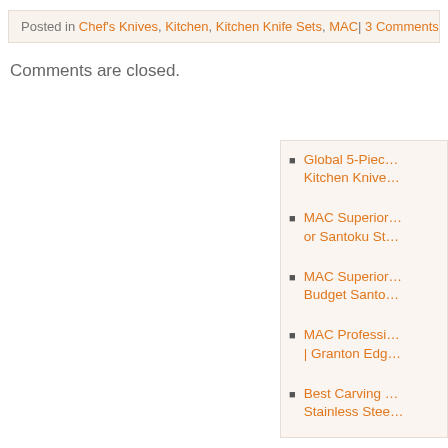Posted in Chef's Knives, Kitchen, Kitchen Knife Sets, MAC| 3 Comments
Comments are closed.
Global 5-Piece Kitchen Knive…
MAC Superior or Santoku St…
MAC Superior Budget Santo…
MAC Professi… | Granton Edg…
Best Carving Stainless Stee…